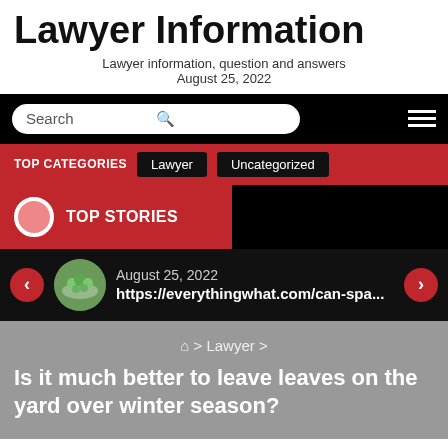Lawyer Information
Lawyer information, question and answers
August 25, 2022
[Figure (screenshot): Website navigation bar with search box and hamburger menu on black background]
[Figure (screenshot): Red categories bar with TOP CATEGORIES label and Lawyer, Uncategorized buttons]
[Figure (screenshot): Black top stories section with red TOP STORIES label, story thumbnail and URL]
⌂ > Lawyer >
Is it much better to leave leaves on the yard over winter season?